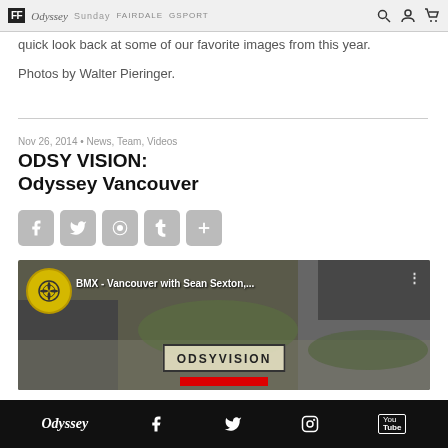FF Odyssey Sunday FAIRDALE GSPORT
quick look back at some of our favorite images from this year.
Photos by Walter Pieringer.
Nov 26, 2014 • News, Team, Videos
ODSY VISION: Odyssey Vancouver
[Figure (screenshot): Social share buttons: Facebook, Twitter, Reddit, Tumblr, Add]
[Figure (screenshot): Video thumbnail showing BMX riders in Vancouver with ODSYVISION branding overlay and YouTube-style interface. Text: BMX - Vancouver with Sean Sexton,...]
Odyssey — Facebook, Twitter, Instagram, YouTube